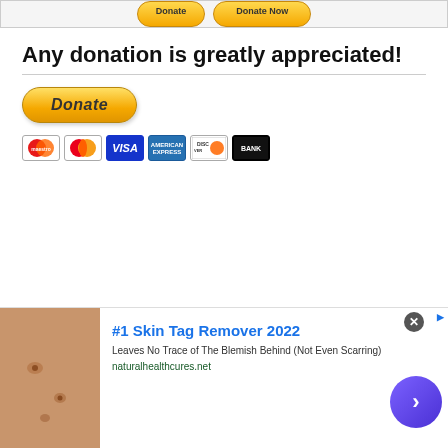[Figure (other): Top banner with donation/action buttons in yellow/orange gradient]
Any donation is greatly appreciated!
[Figure (other): PayPal Donate button (yellow/gold rounded rectangle with italic bold text 'Donate') followed by payment method icons: Maestro, MasterCard, VISA, American Express, Discover, BANK]
[Figure (other): Advertisement banner: '#1 Skin Tag Remover 2022 - Leaves No Trace of The Blemish Behind (Not Even Scarring) - naturalhealthcures.net' with skin image on left and purple arrow button on right]